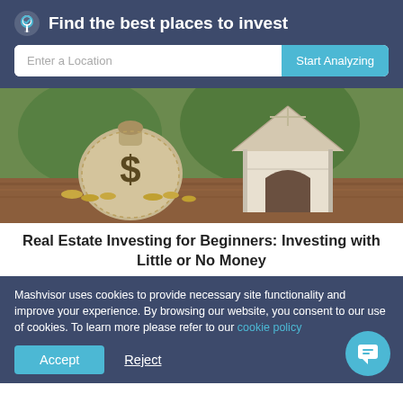Find the best places to invest
[Figure (screenshot): Search bar with 'Enter a Location' placeholder and 'Start Analyzing' button]
[Figure (photo): Photo of a burlap money bag with dollar sign and coins next to a miniature wooden house model]
Real Estate Investing for Beginners: Investing with Little or No Money
Mashvisor uses cookies to provide necessary site functionality and improve your experience. By browsing our website, you consent to our use of cookies. To learn more please refer to our cookie policy
Accept
Reject